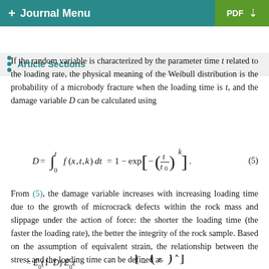+ Journal Menu | PDF
Article Sections
If the random variable is characterized by the parameter time t related to the loading rate, the physical meaning of the Weibull distribution is the probability of a microbody fracture when the loading time is t, and the damage variable D can be calculated using
From (5), the damage variable increases with increasing loading time due to the growth of microcrack defects within the rock mass and slippage under the action of force: the shorter the loading time (the faster the loading rate), the better the integrity of the rock sample. Based on the assumption of equivalent strain, the relationship between the stress and the loading time can be defined as